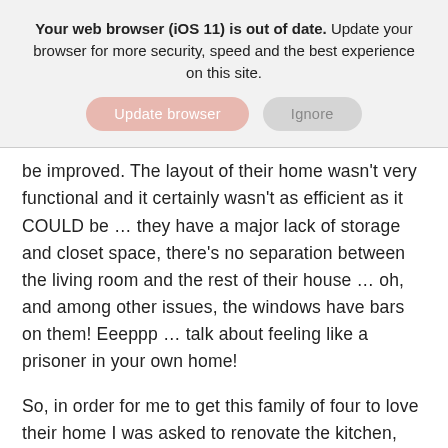Your web browser (iOS 11) is out of date. Update your browser for more security, speed and the best experience on this site.
be improved. The layout of their home wasn't very functional and it certainly wasn't as efficient as it COULD be … they have a major lack of storage and closet space, there's no separation between the living room and the rest of their house … oh, and among other issues, the windows have bars on them! Eeeppp … talk about feeling like a prisoner in your own home!
So, in order for me to get this family of four to love their home I was asked to renovate the kitchen, dining room, living room, master bedroom, master ensuite, family room AND restructure the front entryway and stairwell. OMG … this is